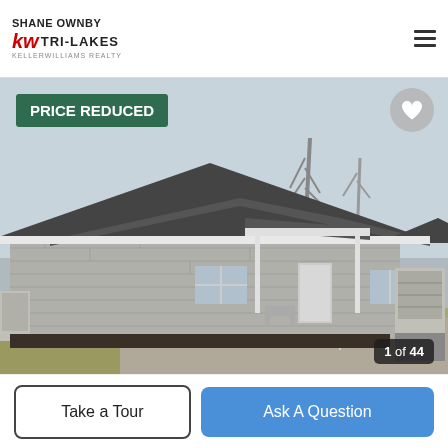SHANE OWNBY KW TRI-LAKES KELLER WILLIAMS REALTY
[Figure (photo): Exterior photo of a single-story stone ranch house with dark shingled roof, front covered porch, gravel driveway, bare trees in background. Badge: PRICE REDUCED. Photo counter: 1 of 44.]
Take a Tour
Ask A Question